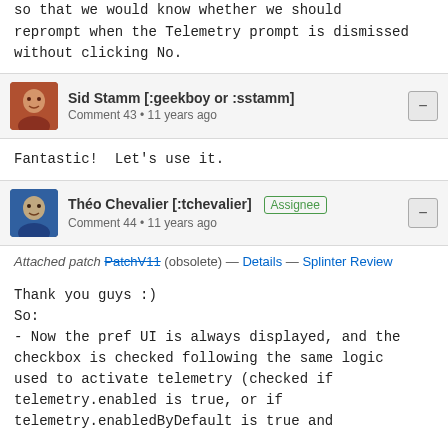so that we would know whether we should reprompt when the Telemetry prompt is dismissed without clicking No.
Sid Stamm [:geekboy or :sstamm] Comment 43 • 11 years ago
Fantastic!  Let's use it.
Théo Chevalier [:tchevalier] Assignee Comment 44 • 11 years ago
Attached patch PatchV11 (obsolete) — Details — Splinter Review
Thank you guys :)
So:
- Now the pref UI is always displayed, and the checkbox is checked following the same logic used to activate telemetry (checked if telemetry.enabled is true, or if telemetry.enabledByDefault is true and